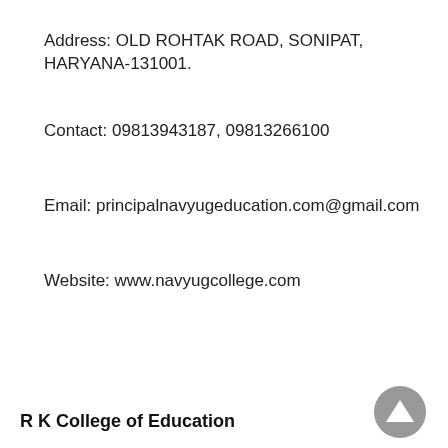Address: OLD ROHTAK ROAD, SONIPAT, HARYANA-131001.
Contact: 09813943187, 09813266100
Email: principalnavyugeducation.com@gmail.com
Website: www.navyugcollege.com
R K College of Education